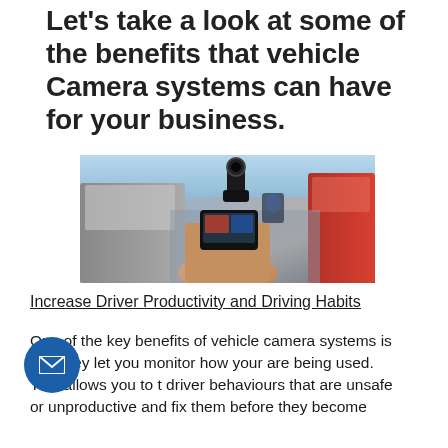Let's take a look at some of the benefits that vehicle Camera systems can have for your business.
[Figure (photo): A hand holding a dashcam device in a car, with traffic visible through the windshield including grey and red cars.]
Increase Driver Productivity and Driving Habits
One of the key benefits of vehicle camera systems is that they let you monitor how your are being used. This allows you to t driver behaviours that are unsafe or unproductive and fix them before they become